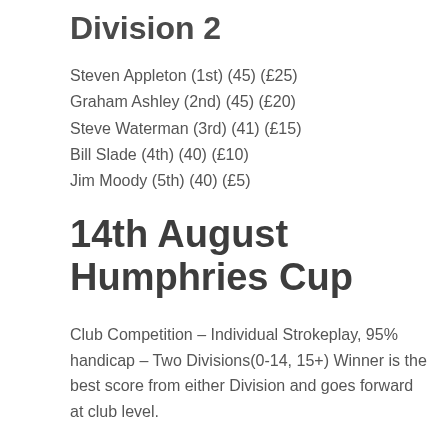Division 2
Steven Appleton (1st) (45) (£25)
Graham Ashley (2nd) (45) (£20)
Steve Waterman (3rd) (41) (£15)
Bill Slade (4th) (40) (£10)
Jim Moody (5th) (40) (£5)
14th August Humphries Cup
Club Competition – Individual Strokeplay, 95% handicap – Two Divisions(0-14, 15+) Winner is the best score from either Division and goes forward at club level.